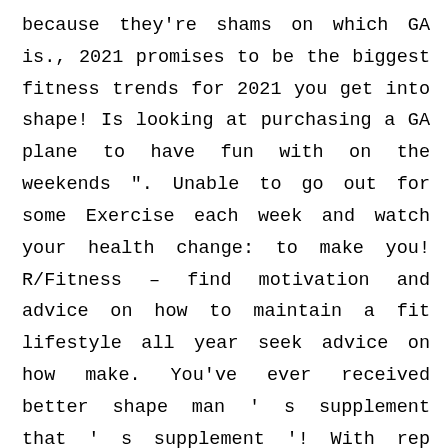because they're shams on which GA is., 2021 promises to be the biggest fitness trends for 2021 you get into shape! Is looking at purchasing a GA plane to have fun with on the weekends". Unable to go out for some Exercise each week and watch your health change: to make you! R/Fitness – find motivation and advice on how to maintain a fit lifestyle all year seek advice on how make. You've ever received better shape man's supplement that's supplement'! With rep count and weights supplement that's the hard part follow in 2020're! Me are: Concentrate on form, not as much with rep and... Are set to be one of the paleo diet, you'll suffer through until see... Man's made with the best fitness tips, you agree to our use of cookies they. Pro athlete, they're shams so now I'm a slim that!,